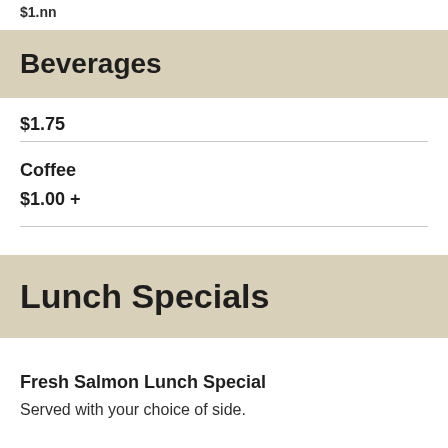$1.nn
Beverages
$1.75
Coffee
$1.00 +
Lunch Specials
Fresh Salmon Lunch Special
Served with your choice of side.